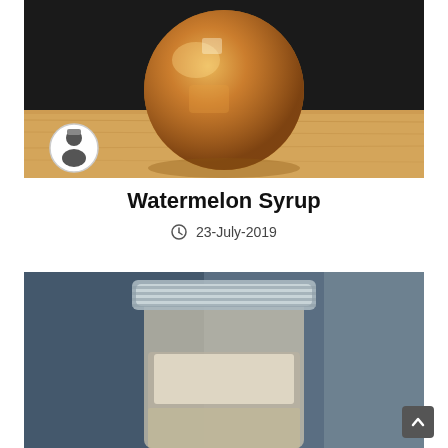[Figure (photo): Close-up photograph of a round amber/honey-colored glass sphere sitting on a light wooden surface against a dark background. A small circular avatar icon with a chef/person silhouette is visible in the lower left of the image.]
Watermelon Syrup
23-July-2019
[Figure (photo): Close-up photograph of a mason jar with a metal screw-on lid, partially filled with a liquid, set against a blurred kitchen background.]